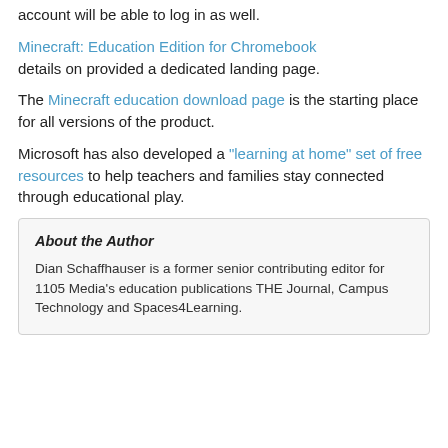account will be able to log in as well.
Minecraft: Education Edition for Chromebook details on provided a dedicated landing page.
The Minecraft education download page is the starting place for all versions of the product.
Microsoft has also developed a "learning at home" set of free resources to help teachers and families stay connected through educational play.
About the Author
Dian Schaffhauser is a former senior contributing editor for 1105 Media's education publications THE Journal, Campus Technology and Spaces4Learning.